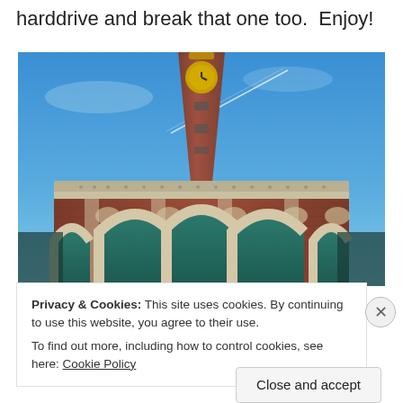harddrive and break that one too.  Enjoy!
[Figure (photo): Upward-looking photograph of a tall brick clock tower with arched facades at the base, set against a blue sky with a jet contrail. The tower features a golden clock face near the top and ornate architectural details.]
Privacy & Cookies: This site uses cookies. By continuing to use this website, you agree to their use.
To find out more, including how to control cookies, see here: Cookie Policy